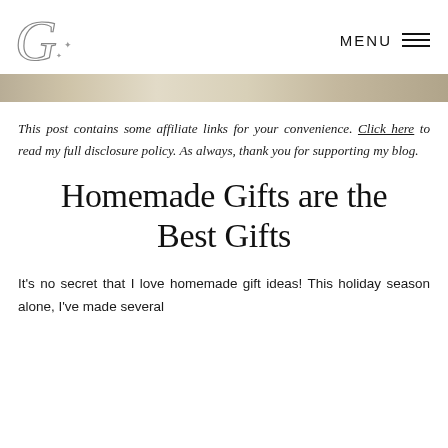CG logo | MENU
[Figure (photo): Beige/tan banner strip showing a blurred background image, likely fabric or flowers]
This post contains some affiliate links for your convenience. Click here to read my full disclosure policy. As always, thank you for supporting my blog.
Homemade Gifts are the Best Gifts
It's no secret that I love homemade gift ideas! This holiday season alone, I've made several